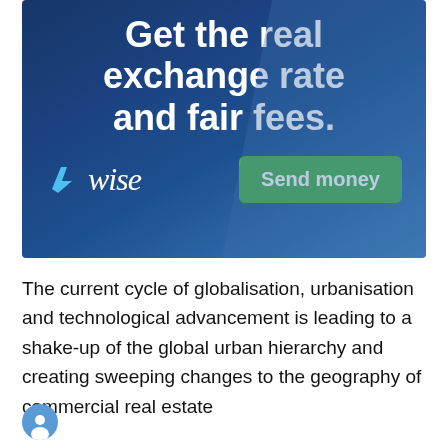[Figure (infographic): Wise (formerly TransferWise) advertisement banner with dark blue background. Large white text reads 'Get the real exchange rate and fair fees.' Below is the Wise logo (blue arrow icon + italic 'wise' wordmark in white) and a green 'Send money' button.]
The current cycle of globalisation, urbanisation and technological advancement is leading to a shake-up of the global urban hierarchy and creating sweeping changes to the geography of commercial real estate